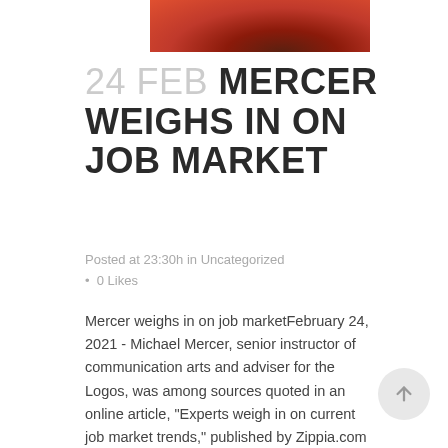[Figure (photo): Cropped photo of a person wearing red, visible at the top of the page]
24 FEB MERCER WEIGHS IN ON JOB MARKET
Posted at 23:30h in Uncategorized · 0 Likes
Mercer weighs in on job marketFebruary 24, 2021 - Michael Mercer, senior instructor of communication arts and adviser for the Logos, was among sources quoted in an online article, "Experts weigh in on current job market trends," published by Zippia.com –